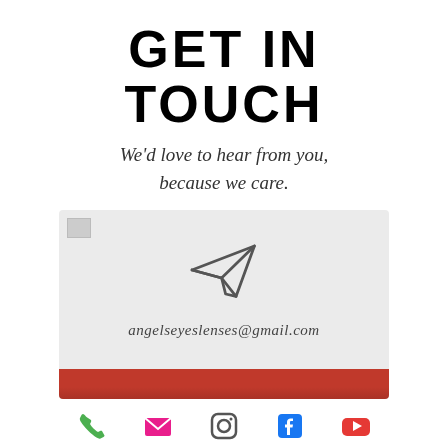GET IN TOUCH
We'd love to hear from you, because we care.
[Figure (illustration): Contact card with paper plane icon and email address angelseyeslenses@gmail.com on light grey background with red bar at bottom]
[Figure (infographic): Row of social media icons: phone (green), email/envelope (pink/red), Instagram, Facebook (blue), YouTube (red)]